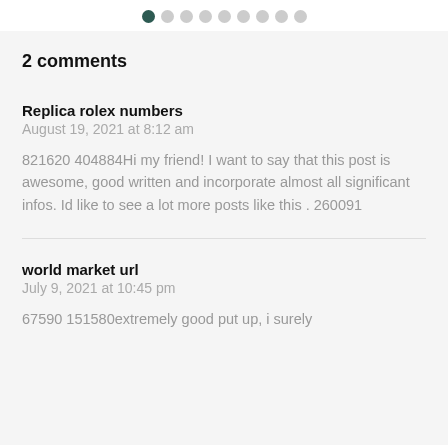[Figure (other): Pagination dots navigation: one filled dark dot followed by eight light grey dots]
2 comments
Replica rolex numbers
August 19, 2021 at 8:12 am
821620 404884Hi my friend! I want to say that this post is awesome, good written and incorporate almost all significant infos. Id like to see a lot more posts like this . 260091
world market url
July 9, 2021 at 10:45 pm
67590 151580extremely good put up, i surely